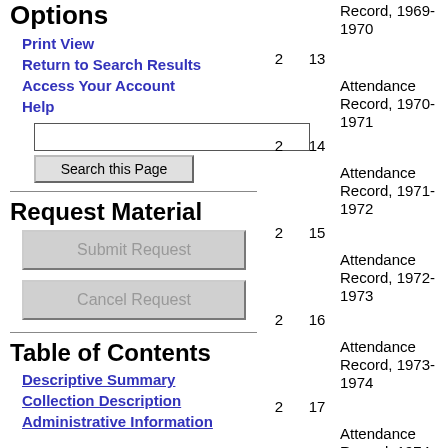Options
Print View
Return to Search Results
Access Your Account
Help
Request Material
Table of Contents
Descriptive Summary
Collection Description
Administrative Information
| Box | Folder | Description |
| --- | --- | --- |
| 2 | 13 | Attendance Record, 1969-1970 |
| 2 | 14 | Attendance Record, 1970-1971 |
| 2 | 15 | Attendance Record, 1971-1972 |
| 2 | 16 | Attendance Record, 1972-1973 |
| 2 | 17 | Attendance Record, 1973-1974 |
| 2 | 18 | Attendance Record, 1974-1975 |
| 2 | 19 | Attendance Record, 1975-1976 |
| 2 | 20 | Attendance Record, 1976-1977 |